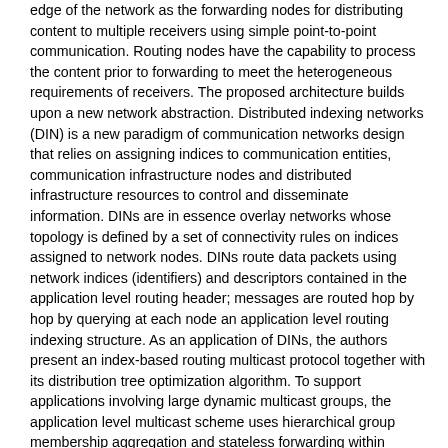edge of the network as the forwarding nodes for distributing content to multiple receivers using simple point-to-point communication. Routing nodes have the capability to process the content prior to forwarding to meet the heterogeneous requirements of receivers. The proposed architecture builds upon a new network abstraction. Distributed indexing networks (DIN) is a new paradigm of communication networks design that relies on assigning indices to communication entities, communication infrastructure nodes and distributed infrastructure resources to control and disseminate information. DINs are in essence overlay networks whose topology is defined by a set of connectivity rules on indices assigned to network nodes. DINs route data packets using network indices (identifiers) and descriptors contained in the application level routing header; messages are routed hop by hop by querying at each node an application level routing indexing structure. As an application of DINs, the authors present an index-based routing multicast protocol together with its distribution tree optimization algorithm. To support applications involving large dynamic multicast groups, the application level multicast scheme uses hierarchical group membership aggregation and stateless forwarding within clusters of network nodes. The authors define the information space (IS) as the multidimensional space that indexes all information available in the network. The information includes infrastructure information (network nodes addresses, storage nodes location), network measurements data, distributed content descriptors, communication group identifiers, real-time published streams and other application dependent communication semantics, etc. The entity communication interest (ECI) is the vector describing the time-dependent information preferences of a network entity (multicast group client, user, etc.). Communication control architecture partitions the IS into interest subspaces and handles the communication processes. The process by which a